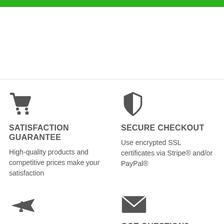[Figure (other): Green banner bar at top]
[Figure (infographic): Shopping cart icon with SATISFACTION GUARANTEE heading and description: High-quality products and competitive prices make your satisfaction]
[Figure (infographic): Shield icon with SECURE CHECKOUT heading and description: Use encrypted SSL certificates via Stripe® and/or PayPal®]
[Figure (infographic): Airplane icon with FREE SHIPPING heading and description: Free shipping on every order. Estimated delivery time around 15 days]
[Figure (infographic): Envelope icon with GOT QUESTION? heading and description: We're happy to help! Email us: support@hotcakeshop.net]